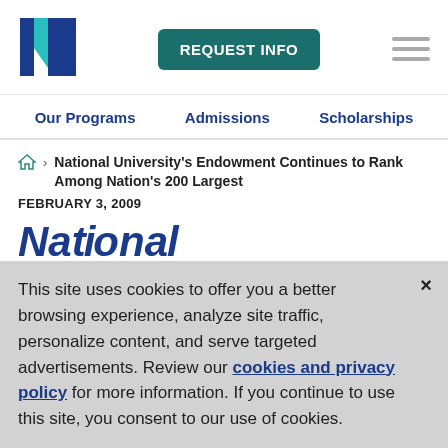[Figure (logo): National University logo — stylized N in dark blue and teal]
[Figure (other): REQUEST INFO button — dark teal rounded rectangle]
[Figure (other): Hamburger menu icon — three horizontal gray lines]
Our Programs   Admissions   Scholarships
National University's Endowment Continues to Rank Among Nation's 200 Largest
FEBRUARY 3, 2009
Na... (partial, cut off)
This site uses cookies to offer you a better browsing experience, analyze site traffic, personalize content, and serve targeted advertisements. Review our cookies and privacy policy for more information. If you continue to use this site, you consent to our use of cookies.